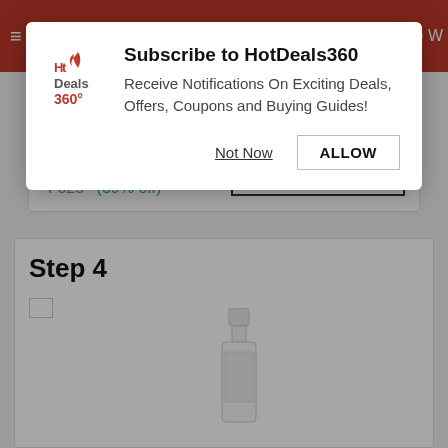[Figure (screenshot): HotDeals360 subscription notification modal dialog overlay on a shopping page. Modal contains logo, title 'Subscribe to HotDeals360', description text, and two buttons 'Not Now' and 'ALLOW'. Background shows a price card with ₹199 (₹325, 39% off) and a BUY ON button, and a Step 4 section with a product bottle image.]
₹ 199
₹ 325  (39% off)
BUY ON
Step 4
Subscribe to HotDeals360
Receive Notifications On Exciting Deals, Offers, Coupons and Buying Guides!
Not Now
ALLOW